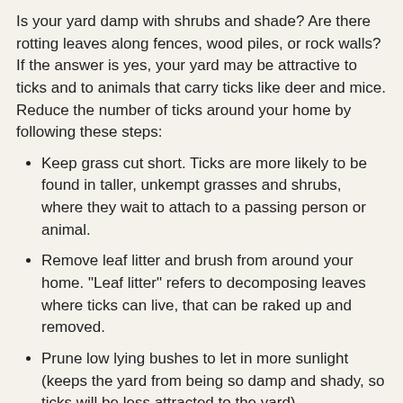Is your yard damp with shrubs and shade? Are there rotting leaves along fences, wood piles, or rock walls? If the answer is yes, your yard may be attractive to ticks and to animals that carry ticks like deer and mice. Reduce the number of ticks around your home by following these steps:
Keep grass cut short. Ticks are more likely to be found in taller, unkempt grasses and shrubs, where they wait to attach to a passing person or animal.
Remove leaf litter and brush from around your home. "Leaf litter" refers to decomposing leaves where ticks can live, that can be raked up and removed.
Prune low lying bushes to let in more sunlight (keeps the yard from being so damp and shady, so ticks will be less attracted to the yard).
Keep wood piles and bird feeders off the ground and away from your home. This will make your yard less attractive to mice and other small rodents that can carry ticks.
Keep the plants around stone walls cut short.
Use a 3-foot-wide wood chip, mulch or gravel barrier where your lawn meets the woods. Ticks are less likely